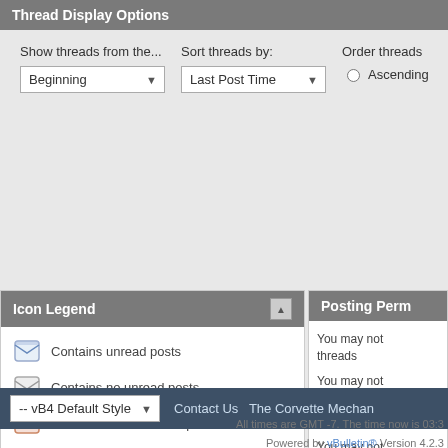Thread Display Options
Show threads from the...
Beginning
Sort threads by:
Last Post Time
Order threads
Ascending
Icon Legend
Contains unread posts
Contains no unread posts
Hot thread with unread posts
Hot thread with no unread posts
Thread is closed
You have posted in this thread
Posting Perm
You may not threads
You may not
You may not attachments
You may not posts
-- vB4 Default Style   Contact Us  The Corvette Mechan
All times are GMT -7. The time now is 03:3
Powered by vBulletin® Version 4.2.3 Copyright © 2022 vBulletin Solutions, Inc. All righ